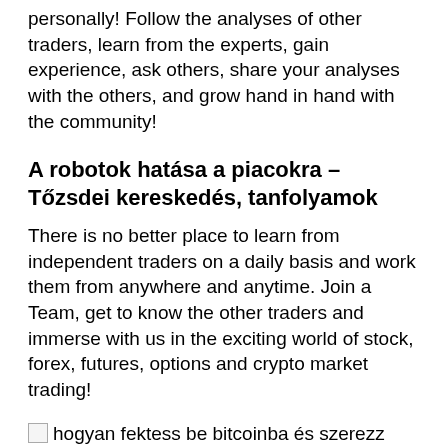personally! Follow the analyses of other traders, learn from the experts, gain experience, ask others, share your analyses with the others, and grow hand in hand with the community!
A robotok hatása a piacokra – Tőzsdei kereskedés, tanfolyamok
There is no better place to learn from independent traders on a daily basis and work them from anywhere and anytime. Join a Team, get to know the other traders and immerse with us in the exciting world of stock, forex, futures, options and crypto market trading!
[Figure (illustration): Broken image placeholder with alt text: hogyan fektess be bitcoinba és szerezz nyereséget mike bináris opciók]